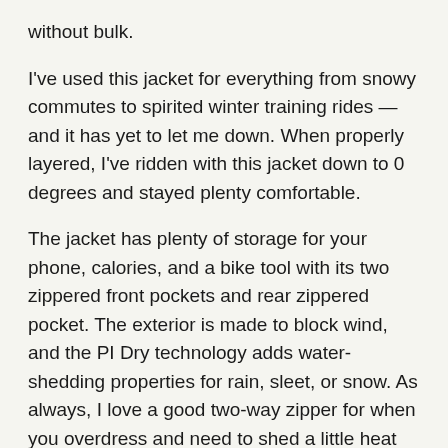without bulk.
I've used this jacket for everything from snowy commutes to spirited winter training rides — and it has yet to let me down. When properly layered, I've ridden with this jacket down to 0 degrees and stayed plenty comfortable.
The jacket has plenty of storage for your phone, calories, and a bike tool with its two zippered front pockets and rear zippered pocket. The exterior is made to block wind, and the PI Dry technology adds water-shedding properties for rain, sleet, or snow. As always, I love a good two-way zipper for when you overdress and need to shed a little heat quickly.
If you're looking for a more lifestyle winter riding jacket option, the Canyon ECOLoft Jacket might be your speed.